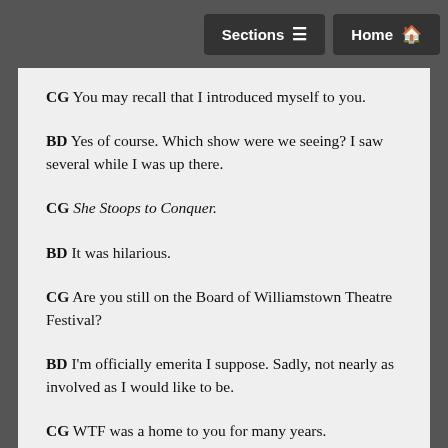Sections  Home
CG You may recall that I introduced myself to you.
BD Yes of course. Which show were we seeing? I saw several while I was up there.
CG She Stoops to Conquer.
BD It was hilarious.
CG Are you still on the Board of Williamstown Theatre Festival?
BD I'm officially emerita I suppose. Sadly, not nearly as involved as I would like to be.
CG WTF was a home to you for many years.